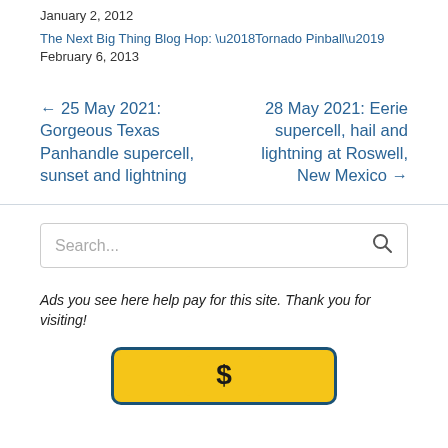January 2, 2012
The Next Big Thing Blog Hop: ‘Tornado Pinball’
February 6, 2013
← 25 May 2021: Gorgeous Texas Panhandle supercell, sunset and lightning
28 May 2021: Eerie supercell, hail and lightning at Roswell, New Mexico →
Search...
Ads you see here help pay for this site. Thank you for visiting!
[Figure (other): Advertisement banner with yellow background and blue border showing a logo/icon]